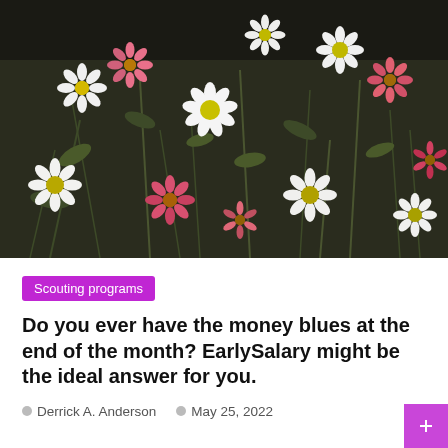[Figure (photo): Close-up photograph of white and pink daisy-like wildflowers with dark stems and leaves against a dark background]
Scouting programs
Do you ever have the money blues at the end of the month? EarlySalary might be the ideal answer for you.
Derrick A. Anderson   May 25, 2022